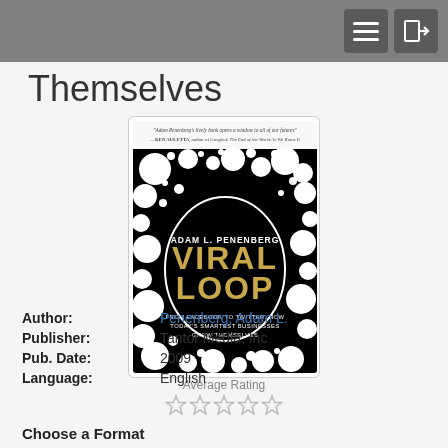Themselves
[Figure (photo): Book cover of 'Viral Loop' by Adam L. Penenberg. Black and white cover with circular bubble pattern. Large black oval in center with gold text reading 'VIRAL LOOP'. Subtitle: 'FROM FACEBOOK TO TWITTER, HOW TODAY'S SMARTEST BUSINESSES GROW THEMSELVES'. Top quote from Ken Auletta. Publisher: Tantor Media.]
Average Rating
★★★★★ (empty stars)
Author: Penenberg, Adam L.
Publisher: Tantor Media, Inc
Pub. Date: 2009
Language: English
Choose a Format